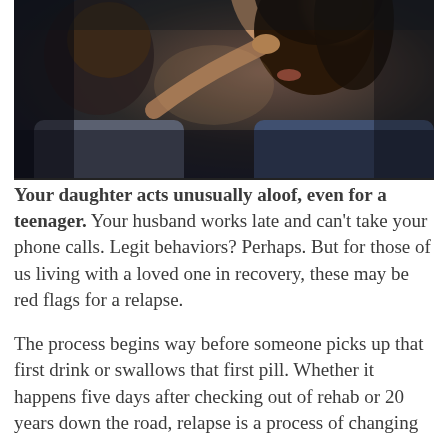[Figure (photo): Close-up photo of two people facing each other, one person (in dark blue) reaching toward the other's face/chin in an intimate or tense moment, dark moody lighting]
Your daughter acts unusually aloof, even for a teenager. Your husband works late and can't take your phone calls. Legit behaviors? Perhaps. But for those of us living with a loved one in recovery, these may be red flags for a relapse.

The process begins way before someone picks up that first drink or swallows that first pill. Whether it happens five days after checking out of rehab or 20 years down the road, relapse is a process of changing